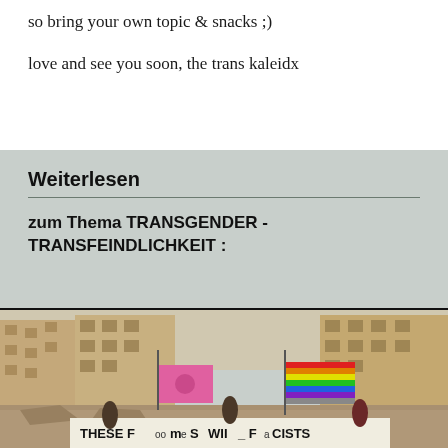so bring your own topic & snacks ;)
love and see you soon, the trans kaleidx
Weiterlesen
zum Thema TRANSGENDER - TRANSFEINDLICHKEIT :
[Figure (photo): Outdoor scene in a war-damaged urban environment with destroyed buildings. People holding a rainbow pride flag and a pink flag with a symbol, along with a white banner partially reading 'THESE F[oo]m[e]S [W]ill [Fa]CISTS']